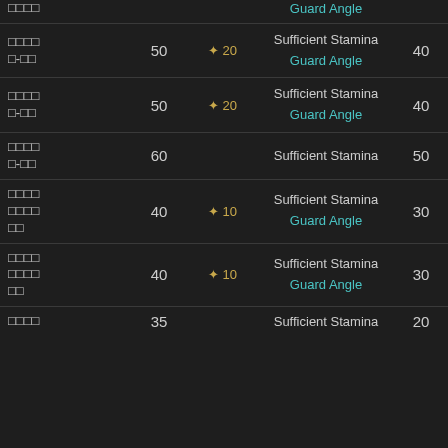| Name | Value1 | Icon | Requirements | Value2 |
| --- | --- | --- | --- | --- |
| □□□□ |  |  | Guard Angle |  |
| □□□□ □-□□ | 50 | ✦ 20 | Sufficient Stamina / Guard Angle | 40 |
| □□□□ □-□□ | 50 | ✦ 20 | Sufficient Stamina / Guard Angle | 40 |
| □□□□ □-□□ | 60 |  | Sufficient Stamina | 50 |
| □□□□ □□□□ □□ | 40 | ✦ 10 | Sufficient Stamina / Guard Angle | 30 |
| □□□□ □□□□ □□ | 40 | ✦ 10 | Sufficient Stamina / Guard Angle | 30 |
| □□□□ | 35 |  | Sufficient Stamina | 20 |